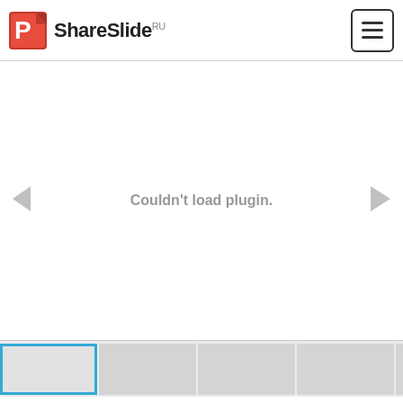ShareSlide RU — navigation bar with logo and hamburger menu
[Figure (screenshot): ShareSlide.ru website screenshot showing a slide viewer with 'Couldn't load plugin.' message, navigation arrows, and a thumbnail strip at the bottom with the first slide selected (highlighted in blue).]